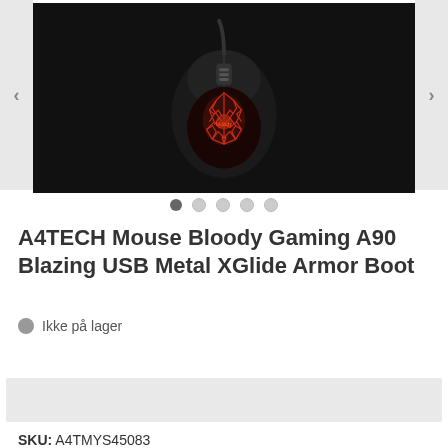[Figure (photo): A black gaming mouse (A4TECH Bloody A90) with red glowing crack pattern on its surface, shown against a black background. Navigation arrows on left and right sides of the carousel.]
• • • • •  (carousel dots, first active)
A4TECH Mouse Bloody Gaming A90 Blazing USB Metal XGlide Armor Boot
Ikke på lager
Kontakt mig, når varen er på lager
SKU: A4TMYS45083